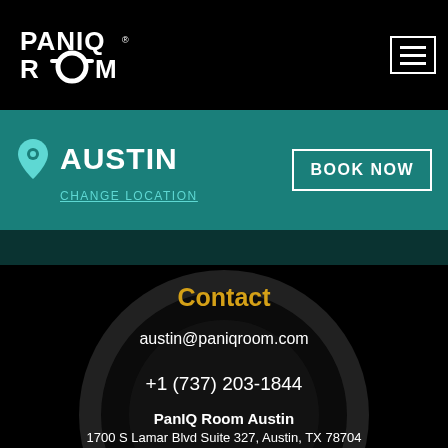[Figure (logo): PaniQ Room logo in white on black background, top left]
AUSTIN
CHANGE LOCATION
BOOK NOW
Contact
austin@paniqroom.com
+1 (737) 203-1844
PanIQ Room Austin
1700 S Lamar Blvd Suite 327, Austin, TX 78704